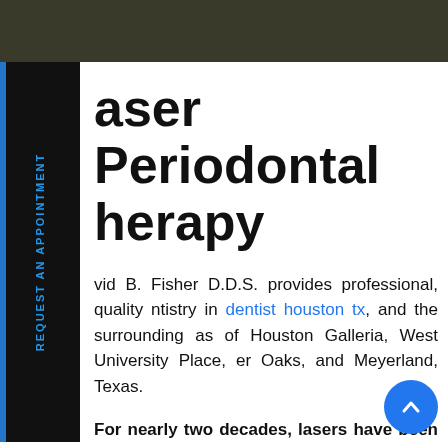[Figure (photo): Dark photo strip at the top of the page, partially visible]
Laser Periodontal Therapy
David B. Fisher D.D.S. provides professional, quality dentistry in dentist houston tx, and the surrounding areas of Houston Galleria, West University Place, River Oaks, and Meyerland, Texas.
For nearly two decades, lasers have been used for preventive, restorative and cosmetic purposes in dentistry. Today, lasers are approved for safety by the Food and Drug Administration, and they have become much more prevalent and standard in dental offices